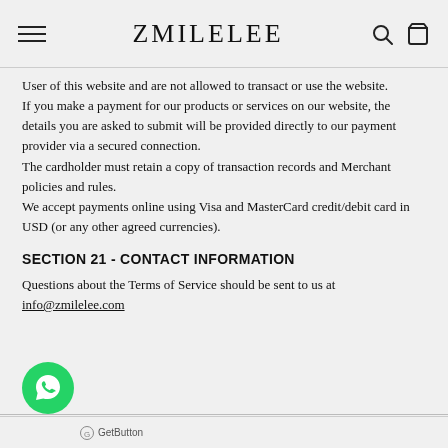ZMILELEE
User of this website and are not allowed to transact or use the website.
If you make a payment for our products or services on our website, the details you are asked to submit will be provided directly to our payment provider via a secured connection.
The cardholder must retain a copy of transaction records and Merchant policies and rules.
We accept payments online using Visa and MasterCard credit/debit card in USD (or any other agreed currencies).
SECTION 21 - CONTACT INFORMATION
Questions about the Terms of Service should be sent to us at info@zmilelee.com
GetButton